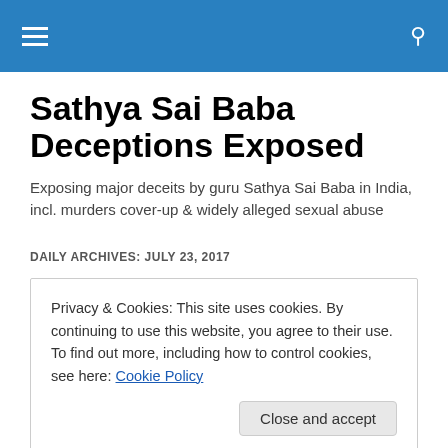Sathya Sai Baba Deceptions Exposed
Exposing major deceits by guru Sathya Sai Baba in India, incl. murders cover-up & widely alleged sexual abuse
DAILY ARCHIVES: JULY 23, 2017
Privacy & Cookies: This site uses cookies. By continuing to use this website, you agree to their use.
To find out more, including how to control cookies, see here: Cookie Policy
Close and accept
institutions have been exposed so widely for so